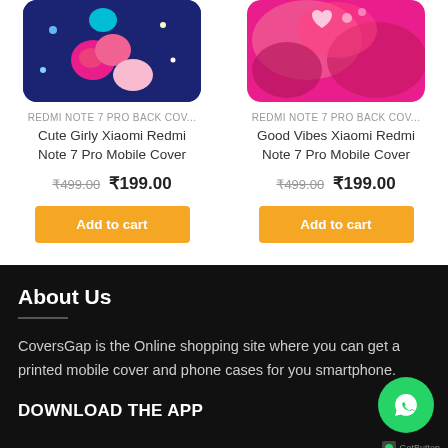[Figure (photo): Cute Girly Xiaomi Redmi Note 7 Pro Mobile Cover - dark blue with hearts and flowers pattern]
REDMI NOTE 7 PRO BACK COV...
Cute Girly Xiaomi Redmi Note 7 Pro Mobile Cover
₹499.00  ₹199.00
Add to cart
[Figure (photo): Good Vibes Xiaomi Redmi Note 7 Pro Mobile Cover - pink/magenta abstract pattern]
REDMI NOTE 7 PRO BACK COV...
Good Vibes Xiaomi Redmi Note 7 Pro Mobile Cover
₹499.00  ₹199.00
Add to cart
About Us
CoversGap is the Online shopping site where you can get a printed mobile cover and phone cases for you smartphone.
DOWNLOAD THE APP